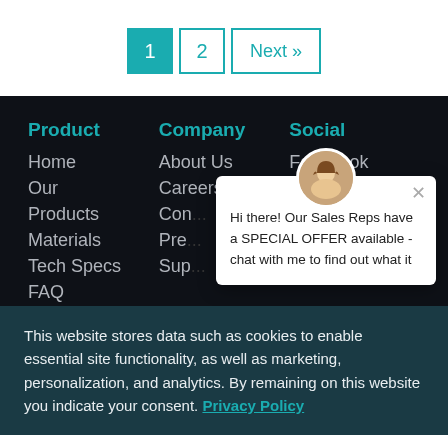1  2  Next »  (pagination)
Product
Home
Our Products
Materials
Tech Specs
FAQ
Community
Company
About Us
Careers
Contact
Press
Support
Social
Facebook
Instagram
[Figure (screenshot): Chat popup with avatar photo of a woman, close button, and text: Hi there! Our Sales Reps have a SPECIAL OFFER available - chat with me to find out what it]
This website stores data such as cookies to enable essential site functionality, as well as marketing, personalization, and analytics. By remaining on this website you indicate your consent. Privacy Policy